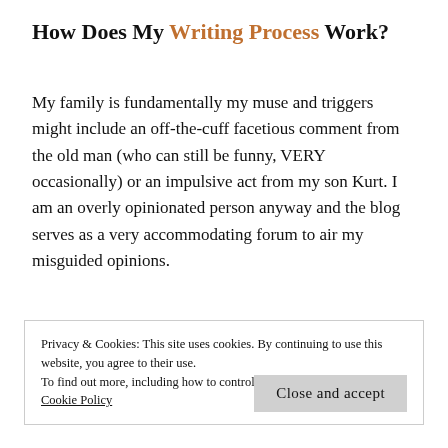How Does My Writing Process Work?
My family is fundamentally my muse and triggers might include an off-the-cuff facetious comment from the old man (who can still be funny, VERY occasionally) or an impulsive act from my son Kurt. I am an overly opinionated person anyway and the blog serves as a very accommodating forum to air my misguided opinions.
Privacy & Cookies: This site uses cookies. By continuing to use this website, you agree to their use.
To find out more, including how to control cookies, see here:
Cookie Policy
Close and accept
…continuing text fragment…